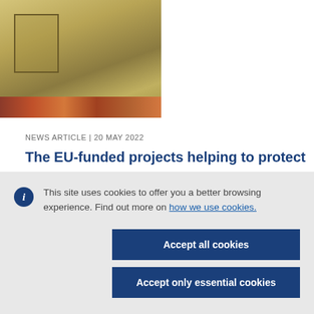[Figure (photo): Partial view of a wooden beehive box with colorful floral decorations, placed on a textile surface]
NEWS ARTICLE | 20 MAY 2022
The EU-funded projects helping to protect
This site uses cookies to offer you a better browsing experience. Find out more on how we use cookies.
Accept all cookies
Accept only essential cookies